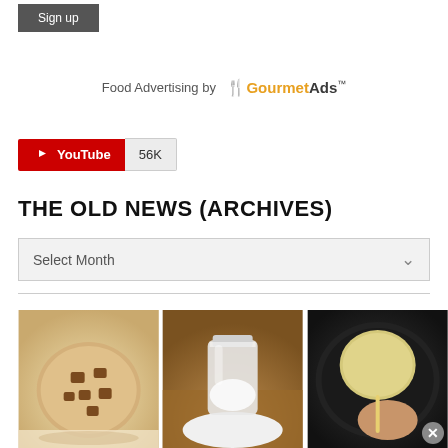Sign up
Food Advertising by GourmetAds
[Figure (other): YouTube subscribe button showing 56K subscribers]
THE OLD NEWS (ARCHIVES)
Select Month
[Figure (photo): Cookie with chocolate chunks on parchment paper]
[Figure (photo): Glass jar of salt with salt pile on wooden surface]
[Figure (photo): Hand holding a round lollipop over a dark pan]